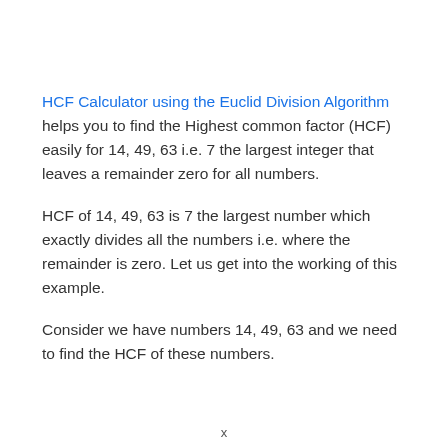HCF Calculator using the Euclid Division Algorithm helps you to find the Highest common factor (HCF) easily for 14, 49, 63 i.e. 7 the largest integer that leaves a remainder zero for all numbers.
HCF of 14, 49, 63 is 7 the largest number which exactly divides all the numbers i.e. where the remainder is zero. Let us get into the working of this example.
Consider we have numbers 14, 49, 63 and we need to find the HCF of these numbers.